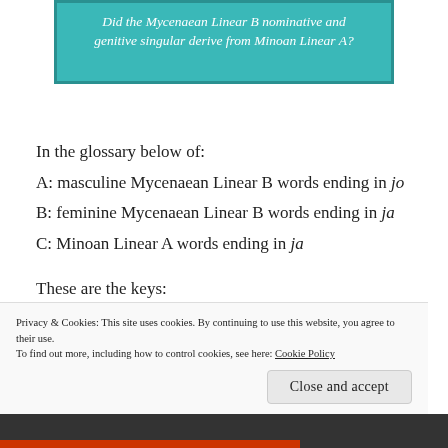[Figure (other): Teal/turquoise banner with italic white text reading: Did the Mycenaean Linear B nominative and genitive singular derive from Minoan Linear A?]
In the glossary below of:
A: masculine Mycenaean Linear B words ending in jo
B: feminine Mycenaean Linear B words ending in ja
C: Minoan Linear A words ending in ja
These are the keys:
nom. = nominative
gen. = genitive
Privacy & Cookies: This site uses cookies. By continuing to use this website, you agree to their use.
To find out more, including how to control cookies, see here: Cookie Policy
Close and accept